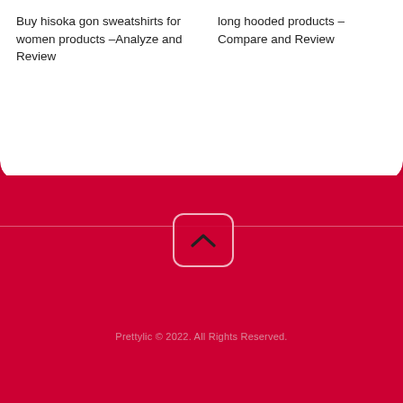Buy hisoka gon sweatshirts for women products –Analyze and Review
long hooded products – Compare and Review
[Figure (other): Scroll-to-top button with chevron up icon, rounded rectangle border on crimson background with horizontal divider line]
Prettylic © 2022. All Rights Reserved.